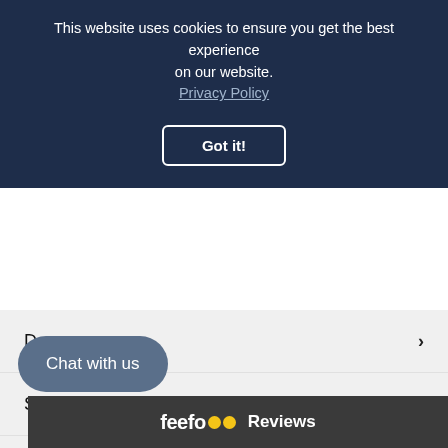This website uses cookies to ensure you get the best experience on our website. Privacy Policy
Got it!
Dogs
Shooting
Kids
Home & Garden
New Arrivals
Brands
Chat with us
feefo Reviews